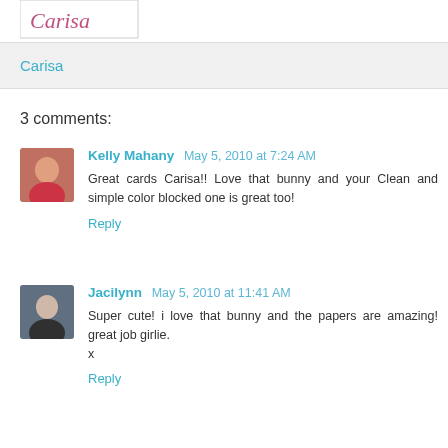[Figure (logo): Carisa blog logo/header image with handwritten text]
Carisa
3 comments:
Kelly Mahany  May 5, 2010 at 7:24 AM
Great cards Carisa!! Love that bunny and your Clean and simple color blocked one is great too!
Reply
Jacilynn  May 5, 2010 at 11:41 AM
Super cute! i love that bunny and the papers are amazing! great job girlie.
x
Reply